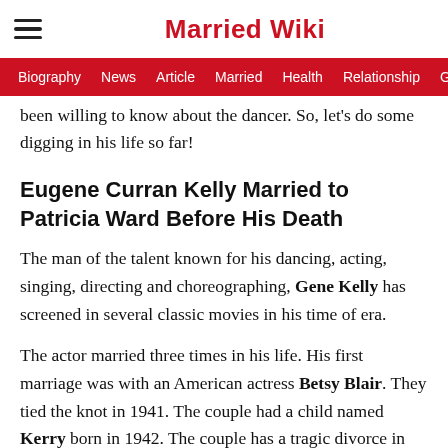Married Wiki
Biography  News  Article  Married  Health  Relationship  Ga
been willing to know about the dancer. So, let's do some digging in his life so far!
Eugene Curran Kelly Married to Patricia Ward Before His Death
The man of the talent known for his dancing, acting, singing, directing and choreographing, Gene Kelly has screened in several classic movies in his time of era.
The actor married three times in his life. His first marriage was with an American actress Betsy Blair. They tied the knot in 1941. The couple had a child named Kerry born in 1942. The couple has a tragic divorce in 1957.